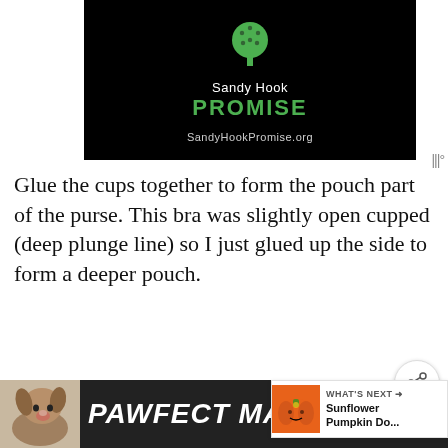[Figure (logo): Sandy Hook Promise logo on black background with green tree icon, text 'Sandy Hook PROMISE' and 'SandyHookPromise.org']
Glue the cups together to form the pouch part of the purse. This bra was slightly open cupped (deep plunge line) so I just glued up the side to form a deeper pouch.
Glue the straps back on to form the handles these can be short or long depending bag style. I used the actual bra straps to keep the pu... to for a c... b...of
[Figure (photo): PAWFECT MATCH advertisement with dog photo]
[Figure (photo): Sunflower Pumpkin Do... what's next thumbnail]